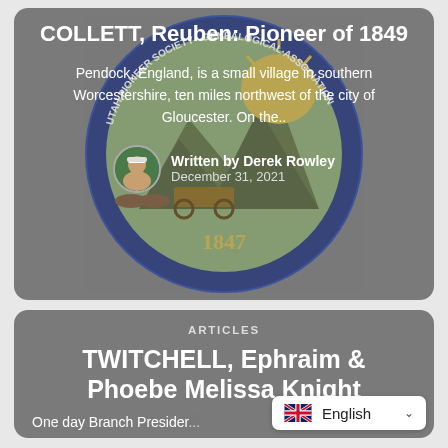[Figure (screenshot): Utah Pioneer Society seal in the background of the first article card]
COLLETT, Reuben: Pioneer of 1849
Pendock, England, is a small village in southern Worcestershire, ten miles northwest of the city of Gloucester. On the..
Written by Derek Rowley
December 31, 2021
ARTICLES
TWITCHELL, Ephraim & Phoebe Melissa Knight
One day Branch President...
[Figure (screenshot): Language selector widget showing English with UK flag and dropdown chevron]